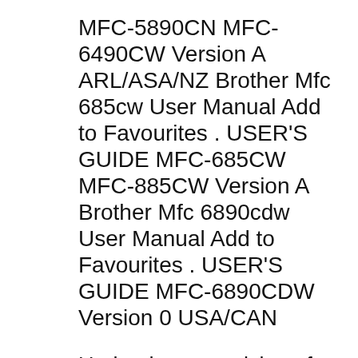MFC-5890CN MFC-6490CW Version A ARL/ASA/NZ Brother Mfc 685cw User Manual Add to Favourites . USER'S GUIDE MFC-685CW MFC-885CW Version A Brother Mfc 6890cdw User Manual Add to Favourites . USER'S GUIDE MFC-6890CDW Version 0 USA/CAN
Under the supervision of Brother Industries Ltd., this manual has been compiled and published, covering the latest product's descriptions and specifications. The contents of this manual and the specifications of this product are subject to change without notice. USER'S GUIDE MFC-5890CN MFC-6490CW Version A ARL/ASA/NZ Brother Mfc 685cw User Manual Add to